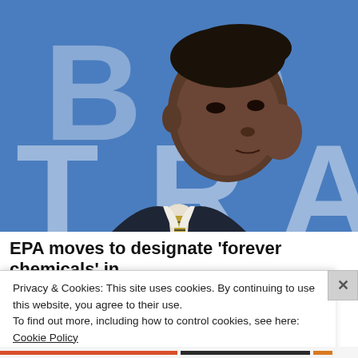[Figure (photo): A Black man in a dark suit and striped tie speaking at a podium against a blue background with large white letters partially visible (B, O, T, R, A).]
EPA moves to designate 'forever chemicals' in
Privacy & Cookies: This site uses cookies. By continuing to use this website, you agree to their use.
To find out more, including how to control cookies, see here: Cookie Policy
Close and accept